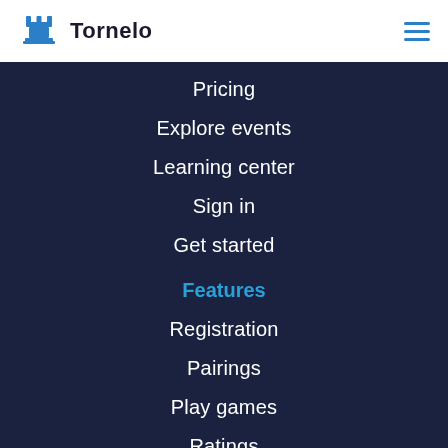Tornelo
Pricing
Explore events
Learning center
Sign in
Get started
Features
Registration
Pairings
Play games
Ratings
Cheat detection
Collaboration